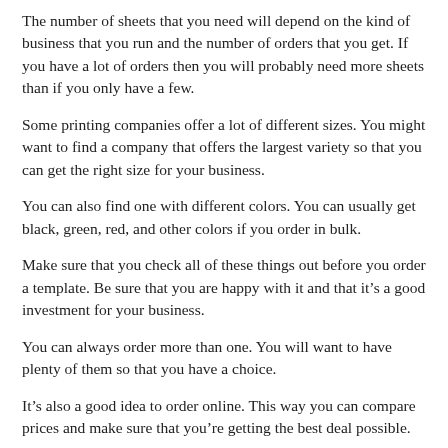The number of sheets that you need will depend on the kind of business that you run and the number of orders that you get. If you have a lot of orders then you will probably need more sheets than if you only have a few.
Some printing companies offer a lot of different sizes. You might want to find a company that offers the largest variety so that you can get the right size for your business.
You can also find one with different colors. You can usually get black, green, red, and other colors if you order in bulk.
Make sure that you check all of these things out before you order a template. Be sure that you are happy with it and that it's a good investment for your business.
You can always order more than one. You will want to have plenty of them so that you have a choice.
It's also a good idea to order online. This way you can compare prices and make sure that you're getting the best deal possible.
These are just a few things to keep in mind when you buy a template. If you follow the tips you should be able to get one